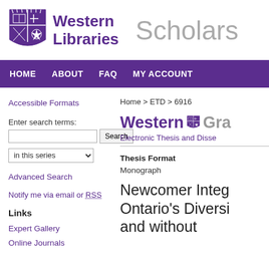[Figure (logo): Western Libraries logo with purple shield and 'Western Libraries' text]
Scholarship@Western
HOME  ABOUT  FAQ  MY ACCOUNT
Accessible Formats
Enter search terms:
in this series
Advanced Search
Notify me via email or RSS
Links
Expert Gallery
Online Journals
Home > ETD > 6916
Western Gra
Electronic Thesis and Disse
Thesis Format
Monograph
Newcomer Integ Ontario's Diversi and without